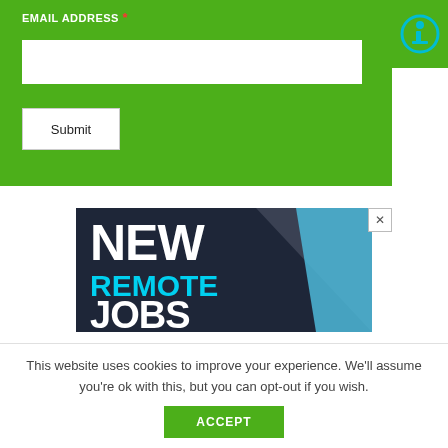EMAIL ADDRESS *
[Figure (screenshot): Email address input field on green background with Submit button below]
[Figure (screenshot): Advertisement banner with dark navy background showing 'NEW REMOTE JOBS' text in white and cyan, with blue triangle graphic on right, and close (X) button]
This website uses cookies to improve your experience. We'll assume you're ok with this, but you can opt-out if you wish.
ACCEPT